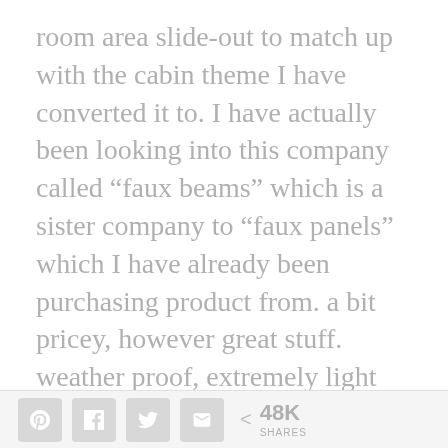room area slide-out to match up with the cabin theme I have converted it to. I have actually been looking into this company called “faux beams” which is a sister company to “faux panels” which I have already been purchasing product from. a bit pricey, however great stuff. weather proof, extremely light weight, and their panels also add “R” rating value to your insulation. I have a lot of heat
< 48K SHARES